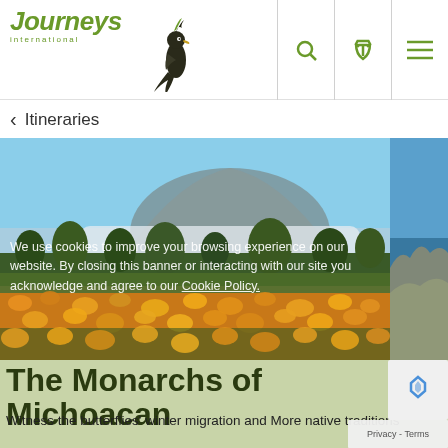[Figure (logo): Journeys International logo with stylized bird and green text]
< Itineraries
[Figure (photo): Landscape photo of a field of bright orange/yellow marigold flowers with trees and a volcanic mountain in the background under a blue sky with clouds. A partial photo of a coastal cliff and blue sea is visible on the right edge.]
We use cookies to improve your browsing experience on our website. By closing this banner or interacting with our site you acknowledge and agree to our Cookie Policy.
The Monarchs of Michoacan
Witness the butterflies' winter migration and More native traditions